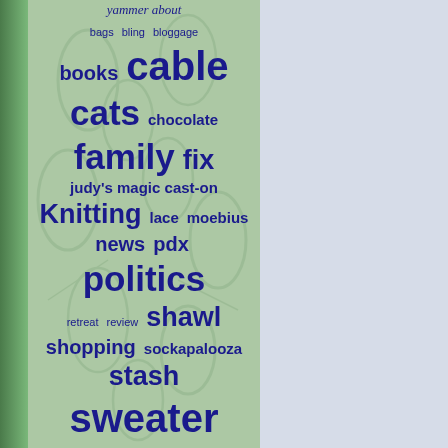yammer about
[Figure (infographic): Tag cloud / word cloud with blog topic tags in various font sizes, on green background. Tags: bags bling bloggage, books, cable, cats, chocolate, family, fix, judy's magic cast-on, Knitting, lace, moebius, news, pdx, politics, retreat, review, shawl, shopping, sockapalooza, stash, sweater, travel]
[Figure (illustration): Wavy decorative divider line in blue-grey color]
Steal My Buttons
(link back please)
[Figure (illustration): Badge/button image showing a woman with red hair and text 'Persistent Illusion' on dark green background]